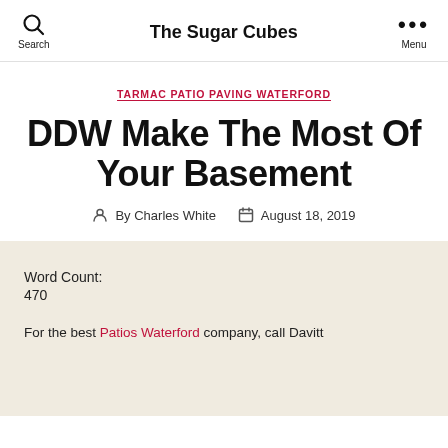Search  The Sugar Cubes  Menu
TARMAC PATIO PAVING WATERFORD
DDW Make The Most Of Your Basement
By Charles White  August 18, 2019
Word Count:
470
For the best Patios Waterford company, call Davitt